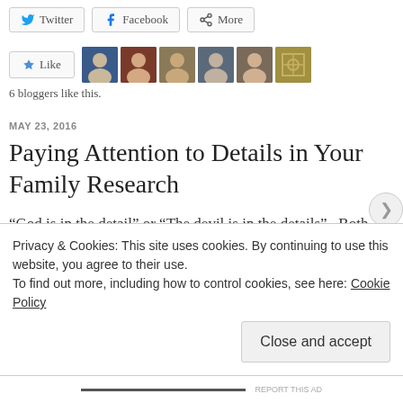[Figure (other): Social share buttons: Twitter, Facebook, More]
[Figure (other): Like button with 6 blogger avatars]
6 bloggers like this.
MAY 23, 2016
Paying Attention to Details in Your Family Research
“God is in the detail” or “The devil is in the details”.  Both expressions infer the same thing. Details are important and those attentive to them are
Privacy & Cookies: This site uses cookies. By continuing to use this website, you agree to their use.
To find out more, including how to control cookies, see here: Cookie Policy
Close and accept